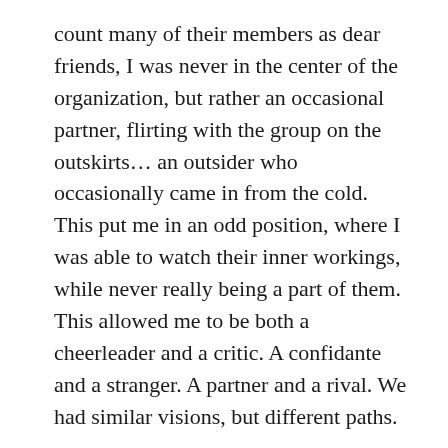count many of their members as dear friends, I was never in the center of the organization, but rather an occasional partner, flirting with the group on the outskirts… an outsider who occasionally came in from the cold. This put me in an odd position, where I was able to watch their inner workings, while never really being a part of them. This allowed me to be both a cheerleader and a critic. A confidante and a stranger. A partner and a rival. We had similar visions, but different paths.

A good example of this divergence of paths can be gleaned from  the beautiful anthology of New Play Project's best plays which this series of posts is going to review and reflect on… Out